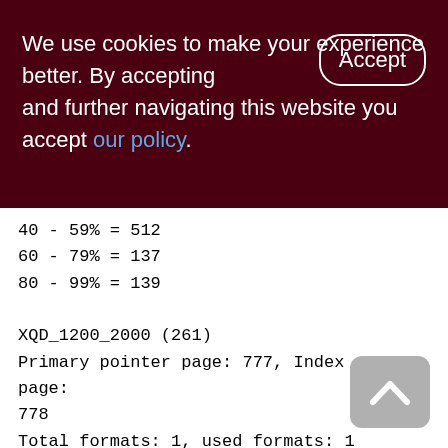We use cookies to make your experience better. By accepting and further navigating this website you accept our policy.
40 - 59% = 512
60 - 79% = 137
80 - 99% = 139

XQD_1200_2000 (261)
Primary pointer page: 777, Index root page: 778
Total formats: 1, used formats: 1
Average record length: 20.19, total records: 114022
Average version length: 71.37, total versions: 7989, max versions: 1
Average fragment length: 0.00, total